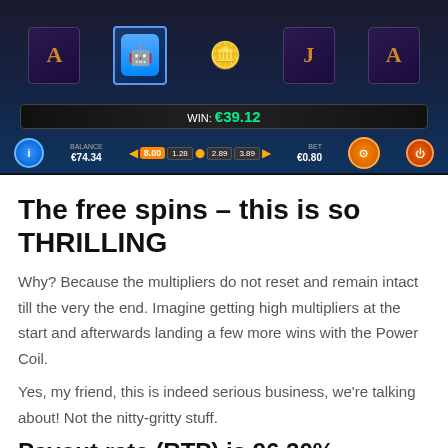[Figure (screenshot): Casino slot game screenshot showing reels with symbols (A, robot/wild, coins, J, A), a WIN display showing €39.12, balance €74.34, bet €0.80 displayed on a dark-themed interface]
The free spins – this is so THRILLING
Why? Because the multipliers do not reset and remain intact till the very the end. Imagine getting high multipliers at the start and afterwards landing a few more wins with the Power Coil.
Yes, my friend, this is indeed serious business, we're talking about! Not the nitty-gritty stuff.
Payout rate (RTP) is 96.20%.
The RTP of Coils of Cash is 96.20%, which is around